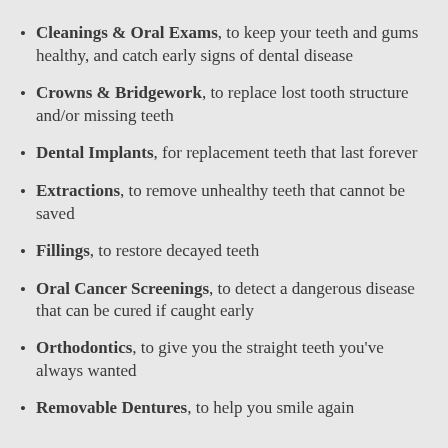Cleanings & Oral Exams, to keep your teeth and gums healthy, and catch early signs of dental disease
Crowns & Bridgework, to replace lost tooth structure and/or missing teeth
Dental Implants, for replacement teeth that last forever
Extractions, to remove unhealthy teeth that cannot be saved
Fillings, to restore decayed teeth
Oral Cancer Screenings, to detect a dangerous disease that can be cured if caught early
Orthodontics, to give you the straight teeth you've always wanted
Removable Dentures, to help you smile again